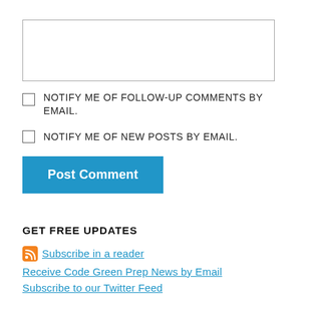[Figure (other): Empty text area input box]
NOTIFY ME OF FOLLOW-UP COMMENTS BY EMAIL.
NOTIFY ME OF NEW POSTS BY EMAIL.
[Figure (other): Post Comment button (blue)]
GET FREE UPDATES
Subscribe in a reader
Receive Code Green Prep News by Email
Subscribe to our Twitter Feed